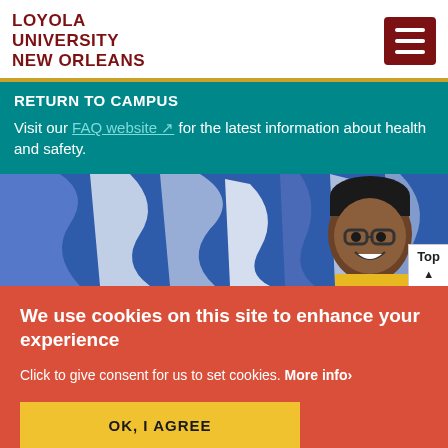LOYOLA UNIVERSITY NEW ORLEANS
RETURN TO CAMPUS
Visit our FAQ website ↗ for the latest information about health and safety.
[Figure (photo): Young Black man smiling in front of a blue and white abstract mural wall]
We use cookies on this site to enhance your experience
Click to give consent for us to set cookies. More info›
OK, I AGREE